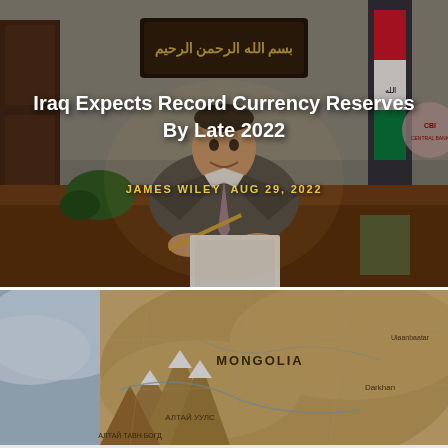[Figure (photo): A man in a suit sitting at a desk in an official office, with an Iraqi flag, Arabic calligraphy plaque on the wall, and Central Bank of Iraq logo visible. He is smiling at the camera.]
Iraq Expects Record Currency Reserves By Late 2022
JAMES WILEY  AUG 29, 2022
[Figure (map): A physical/topographic map showing Central Asia region, with Mongolia prominently labeled, and surrounding regions visible.]
ADVERTISEMENT